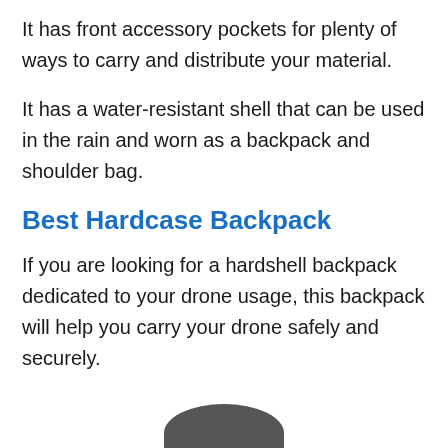It has front accessory pockets for plenty of ways to carry and distribute your material.
It has a water-resistant shell that can be used in the rain and worn as a backpack and shoulder bag.
Best Hardcase Backpack
If you are looking for a hardshell backpack dedicated to your drone usage, this backpack will help you carry your drone safely and securely.
[Figure (photo): Partial view of a dark hardcase backpack shown at the bottom of the page]